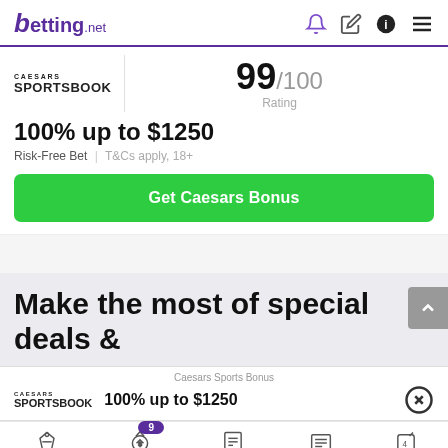betting.net
[Figure (logo): Caesars Sportsbook logo]
99/100 Rating
100% up to $1250
Risk-Free Bet | T&Cs apply, 18+
Get Caesars Bonus
Make the most of special deals &
Caesars Sports Bonus
100% up to $1250
Sports Betting | Sports Bonus 9 | Betting Tips | News | Casino